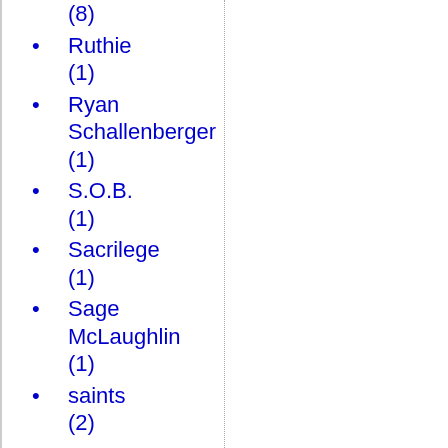(8)
Ruthie (1)
Ryan Schallenberger (1)
S.O.B. (1)
Sacrilege (1)
Sage McLaughlin (1)
saints (2)
same sex marriage (1)
Samuel Golubchuk (1)
San Bernardino massacre